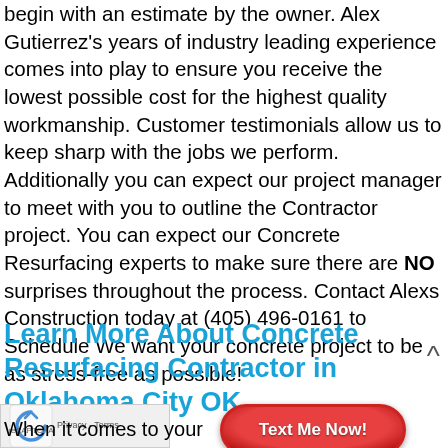begin with an estimate by the owner. Alex Gutierrez's years of industry leading experience comes into play to ensure you receive the lowest possible cost for the highest quality workmanship. Customer testimonials allow us to keep sharp with the jobs we perform. Additionally you can expect our project manager to meet with you to outline the Contractor project. You can expect our Concrete Resurfacing experts to make sure there are NO surprises throughout the process. Contact Alexs Construction today at (405) 496-0161 to Schedule We want your concrete project to be as stress-free as possible!
Learn More About Concrete Resurfacing Contractor in Oklahoma City OK
When it comes to your home, Alexs Construction understands that it can feel overwhelming to deal with a